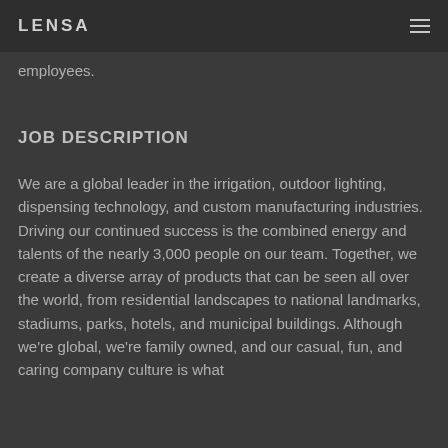LENSA
employees.
JOB DESCRIPTION
We are a global leader in the irrigation, outdoor lighting, dispensing technology, and custom manufacturing industries. Driving our continued success is the combined energy and talents of the nearly 3,000 people on our team. Together, we create a diverse array of products that can be seen all over the world, from residential landscapes to national landmarks, stadiums, parks, hotels, and municipal buildings. Although we're global, we're family owned, and our casual, fun, and caring company culture is what